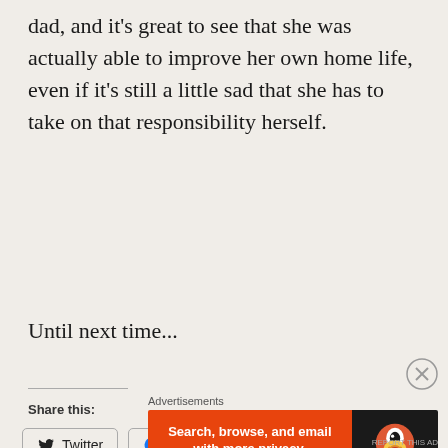dad, and it's great to see that she was actually able to improve her own home life, even if it's still a little sad that she has to take on that responsibility herself.
Until next time...
Share this:
Twitter
Facebook
Loading...
Advertisements
[Figure (infographic): DuckDuckGo advertisement banner: orange left section with text 'Search, browse, and email with more privacy. All in One Free App', dark right section with DuckDuckGo duck logo and brand name.]